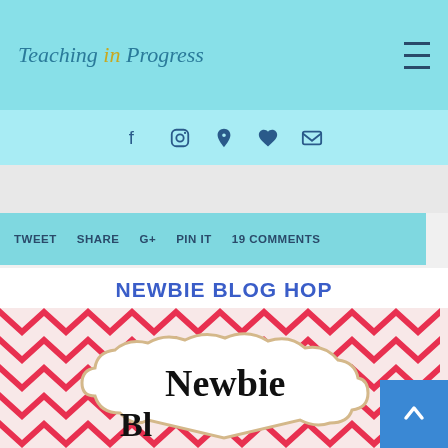Teaching in Progress
[Figure (screenshot): Navigation icons: Facebook, Instagram, Pinterest, Bloglovin heart, Email envelope]
TWEET   SHARE   G+   PIN IT   19 COMMENTS
NEWBIE BLOG HOP
[Figure (photo): Newbie Bloggers graphic with red and white chevron background and cloud shape containing text 'Newbie Bloggers']